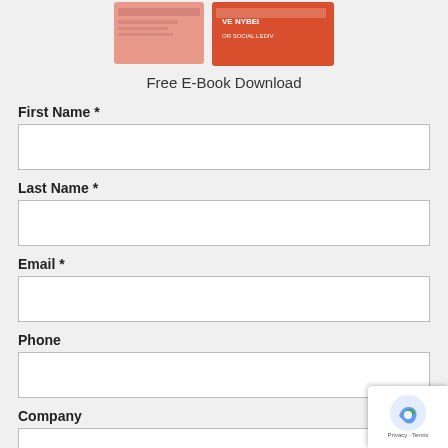[Figure (illustration): Book covers partially visible at top of page — two book/e-book covers with orange and pink colors]
Free E-Book Download
First Name *
Last Name *
Email *
Phone
Company